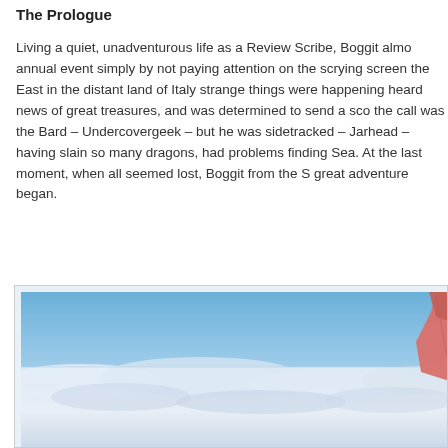The Prologue
Living a quiet, unadventurous life as a Review Scribe, Boggit almost missed the annual event simply by not paying attention on the scrying screen. Far away to the East in the distant land of Italy strange things were happening. The Guild Master had heard news of great treasures, and was determined to send a scouting party. First to answer the call was the Bard – Undercovergeek – but he was sidetracked. The Dragon Slayer – Jarhead – having slain so many dragons, had problems finding his way across the Sea. At the last moment, when all seemed lost, Boggit from the S... and so the great adventure began.
[Figure (photo): Aerial view from airplane window showing clouds below and the red airplane wing tip visible on the right side, with blue sky above.]